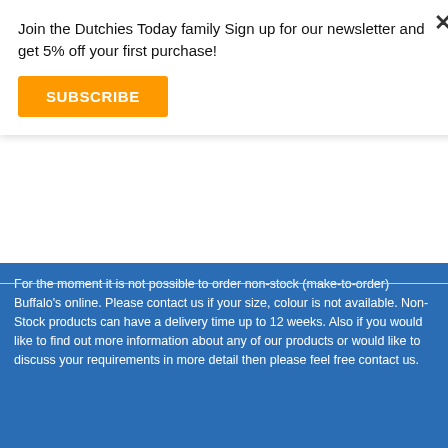Join the Dutchies Today family Sign up for our newsletter and get 5% off your first purchase!
SUBSCRIBE
[Figure (photo): Product photo of a dark/black Buffalo DP Hood Tecmax jacket or hood accessory, shown against a white background with a circular logo watermark in the bottom right corner.]
DP Hood Tecmax
Fits Tecmax shirts. Special product with Tecmax Acrylic pile inside. Features Classic Pertex® shell Tecmax Acrylic
For the moment it is not possible to order non-stock (make-to-order) Buffalo's online. Please contact us if your size, colour is not available. Non-Stock products can have a delivery time up to 12 weeks. Also if you would like to find out more information about any of our products or would like to discuss your requirements in more detail then please feel free contact us.